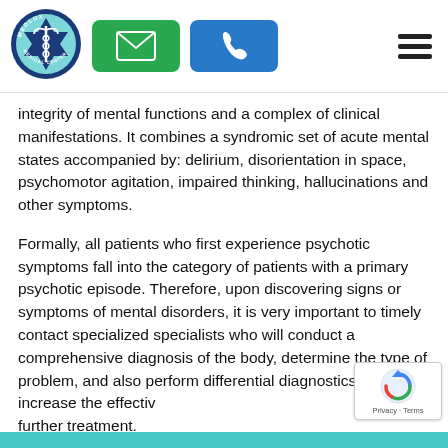[Figure (logo): Medlux Medical Center circular logo with caduceus symbol]
[Figure (infographic): Green email button icon and blue phone button icon, hamburger menu icon]
integrity of mental functions and a complex of clinical manifestations. It combines a syndromic set of acute mental states accompanied by: delirium, disorientation in space, psychomotor agitation, impaired thinking, hallucinations and other symptoms.
Formally, all patients who first experience psychotic symptoms fall into the category of patients with a primary psychotic episode. Therefore, upon discovering signs or symptoms of mental disorders, it is very important to timely contact specialized specialists who will conduct a comprehensive diagnosis of the body, determine the type of problem, and also perform differential diagnostics to increase the effectiveness of further treatment.